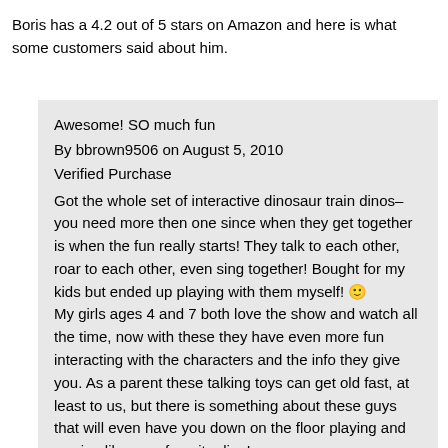Boris has a 4.2 out of 5 stars on Amazon and here is what some customers said about him.
Awesome! SO much fun
By bbrown9506 on August 5, 2010
Verified Purchase
Got the whole set of interactive dinosaur train dinos–you need more then one since when they get together is when the fun really starts! They talk to each other, roar to each other, even sing together! Bought for my kids but ended up playing with them myself! 🙂
My girls ages 4 and 7 both love the show and watch all the time, now with these they have even more fun interacting with the characters and the info they give you. As a parent these talking toys can get old fast, at least to us, but there is something about these guys that will even have you down on the floor playing and roaring like your favorite dino!